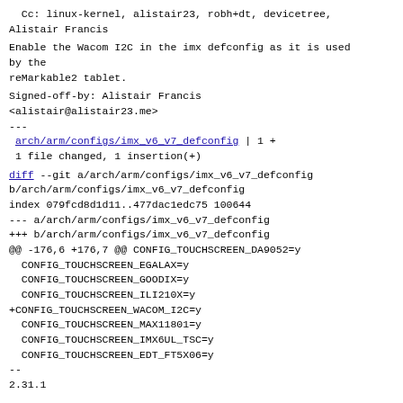Cc: linux-kernel, alistair23, robh+dt, devicetree,
Alistair Francis
Enable the Wacom I2C in the imx defconfig as it is used
by the
reMarkable2 tablet.
Signed-off-by: Alistair Francis
<alistair@alistair23.me>
---
 arch/arm/configs/imx_v6_v7_defconfig | 1 +
 1 file changed, 1 insertion(+)
diff --git a/arch/arm/configs/imx_v6_v7_defconfig
b/arch/arm/configs/imx_v6_v7_defconfig
index 079fcd8d1d11..477dac1edc75 100644
--- a/arch/arm/configs/imx_v6_v7_defconfig
+++ b/arch/arm/configs/imx_v6_v7_defconfig
@@ -176,6 +176,7 @@ CONFIG_TOUCHSCREEN_DA9052=y
  CONFIG_TOUCHSCREEN_EGALAX=y
  CONFIG_TOUCHSCREEN_GOODIX=y
  CONFIG_TOUCHSCREEN_ILI210X=y
+CONFIG_TOUCHSCREEN_WACOM_I2C=y
  CONFIG_TOUCHSCREEN_MAX11801=y
  CONFIG_TOUCHSCREEN_IMX6UL_TSC=y
  CONFIG_TOUCHSCREEN_EDT_FT5X06=y
--
2.31.1